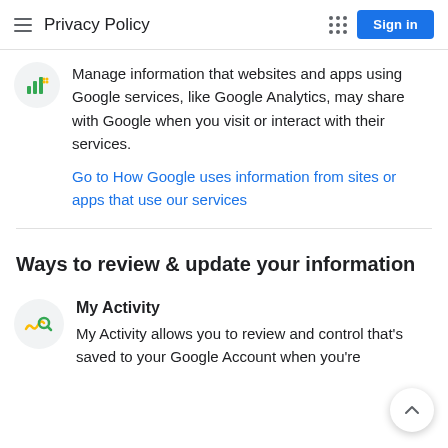Privacy Policy
Manage information that websites and apps using Google services, like Google Analytics, may share with Google when you visit or interact with their services.
Go to How Google uses information from sites or apps that use our services
Ways to review & update your information
My Activity
My Activity allows you to review and control that's saved to your Google Account when you're